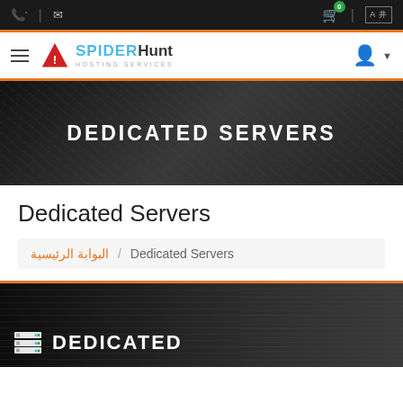SpiderHunt Hosting Services – navigation and top bar
[Figure (screenshot): Hero banner with dark background and text DEDICATED SERVERS]
Dedicated Servers
البوابة الرئيسية / Dedicated Servers
[Figure (photo): Dark server rack image with DEDICATED text overlay and server icon]